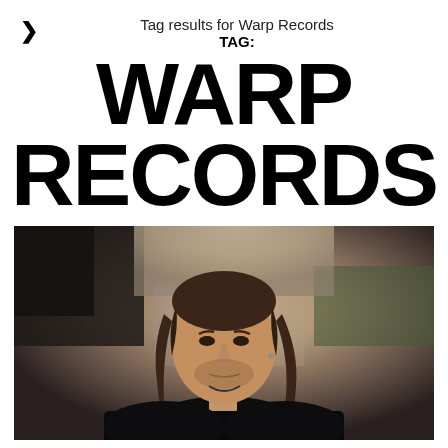Tag results for Warp Records
TAG:
WARP RECORDS
[Figure (photo): Portrait photo of a man with long brown hair wearing a black shirt, photographed outdoors with an urban background, shallow depth of field.]
APHEX TWIN TEASES NEW EP, 'COLLAPSE', ON